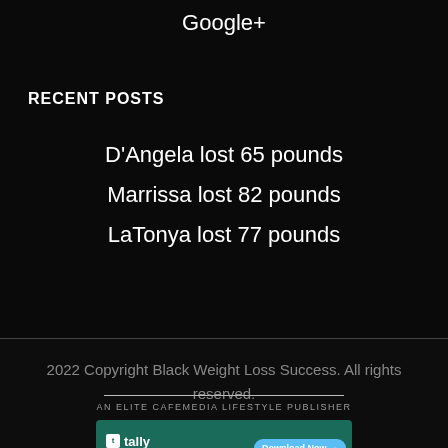Google+
RECENT POSTS
D'Angela lost 65 pounds
Marrissa lost 82 pounds
LaTonya lost 77 pounds
2022 Copyright Black Weight Loss Success. All rights reserved.
AN ELITE CAFEMEDIA LIFESTYLE PUBLISHER
[Figure (infographic): Tally app advertisement banner: Fast credit card payoff, Download Now button]